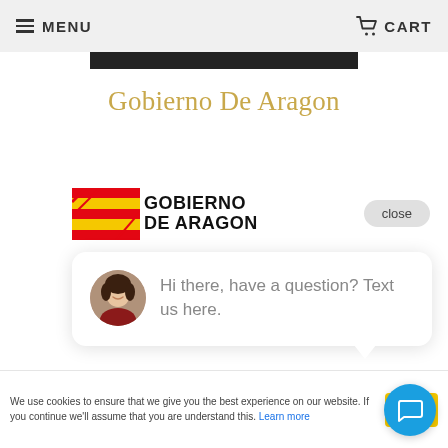MENU   CART
Gobierno De Aragon
[Figure (logo): Gobierno de Aragon logo with red and yellow diagonal stripes flag emblem on left, bold black text 'GOBIERNO DE ARAGON' on right]
close
[Figure (photo): Circular avatar photo of a smiling woman with dark hair]
Hi there, have a question? Text us here.
We use cookies to ensure that we give you the best experience on our website. If you continue we'll assume that you are understand this. Learn more
Acce